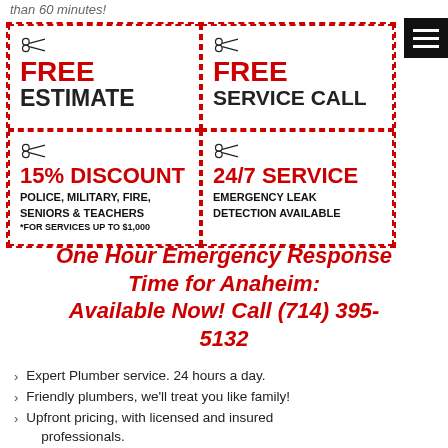than 60 minutes!
[Figure (infographic): Four coupon cells in a 2x2 dashed-border grid: FREE ESTIMATE, FREE SERVICE CALL, 15% DISCOUNT for Police/Military/Fire/Seniors & Teachers, 24/7 SERVICE Emergency Leak Detection Available]
One Hour Emergency Response Time for Anaheim: Available Now! Call (714) 395-5132
Expert Plumber service. 24 hours a day.
Friendly plumbers, we'll treat you like family!
Upfront pricing, with licensed and insured professionals.